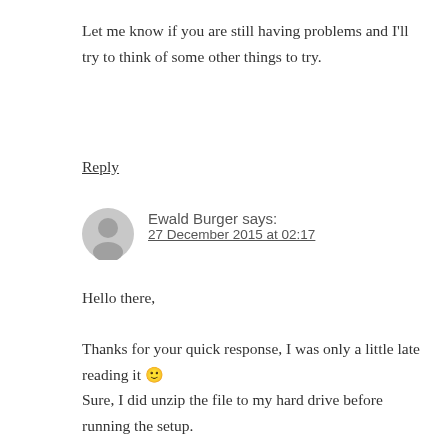Let me know if you are still having problems and I'll try to think of some other things to try.
Reply
Ewald Burger says:
27 December 2015 at 02:17
Hello there,

Thanks for your quick response, I was only a little late reading it 🙂
Sure, I did unzip the file to my hard drive before running the setup.